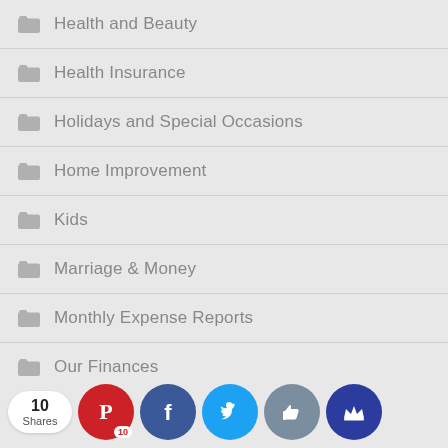Health and Beauty
Health Insurance
Holidays and Special Occasions
Home Improvement
Kids
Marriage & Money
Monthly Expense Reports
Our Finances
Pets
Reader Case Studies